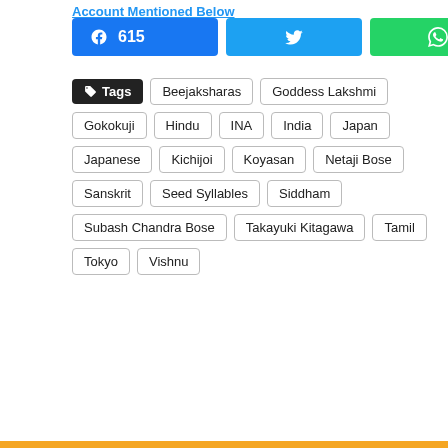Account Mentioned Below
[Figure (infographic): Social share buttons: Facebook (615), Twitter, WhatsApp, and a share count showing 615 SHARES]
Tags: Beejaksharas, Goddess Lakshmi, Gokokuji, Hindu, INA, India, Japan, Japanese, Kichijoi, Koyasan, Netaji Bose, Sanskrit, Seed Syllables, Siddham, Subash Chandra Bose, Takayuki Kitagawa, Tamil, Tokyo, Vishnu